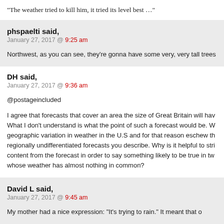"The weather tried to kill him, it tried its level best …"
phspaelti said,
January 27, 2017 @ 9:25 am

Northwest, as you can see, they're gonna have some very, very tall trees
DH said,
January 27, 2017 @ 9:36 am

@postageincluded

I agree that forecasts that cover an area the size of Great Britain will have What I don't understand is what the point of such a forecast would be. W geographic variation in weather in the U.S and for that reason eschew th regionally undifferentiated forecasts you describe. Why is it helpful to stri content from the forecast in order to say something likely to be true in tw whose weather has almost nothing in common?
David L said,
January 27, 2017 @ 9:45 am

My mother had a nice expression: "It's trying to rain." It meant that on...